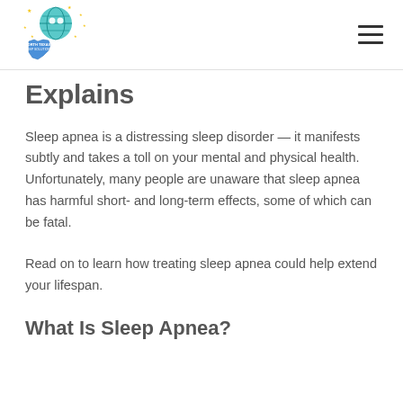North Texas Sleep Solutions — navigation header
Explains
Sleep apnea is a distressing sleep disorder — it manifests subtly and takes a toll on your mental and physical health. Unfortunately, many people are unaware that sleep apnea has harmful short- and long-term effects, some of which can be fatal.
Read on to learn how treating sleep apnea could help extend your lifespan.
What Is Sleep Apnea?